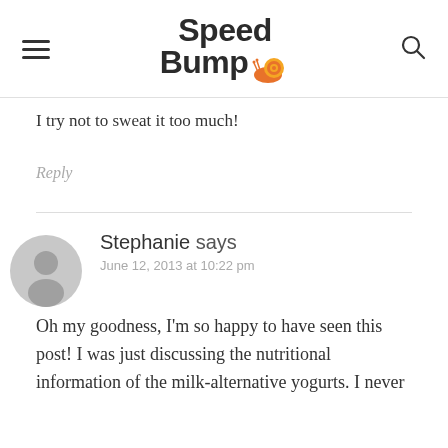Speed Bumpo [logo with snail]
I try not to sweat it too much!
Reply
Stephanie says
June 12, 2013 at 10:22 pm
Oh my goodness, I'm so happy to have seen this post! I was just discussing the nutritional information of the milk-alternative yogurts. I never